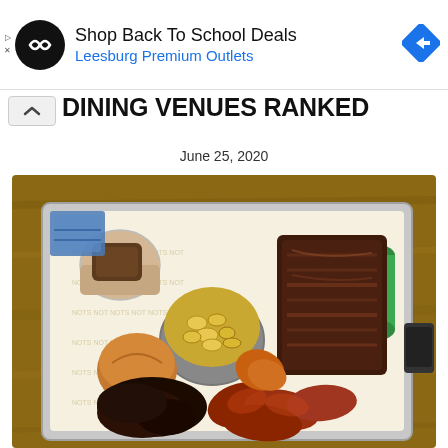[Figure (other): Advertisement banner: Shop Back To School Deals - Leesburg Premium Outlets, with circular logo and diamond navigation arrow]
DINING VENUES RANKED
June 25, 2020
[Figure (photo): Overhead view of a metal cafeteria tray with BBQ food items: ribs/brisket, mac and cheese, a dinner roll, pulled pork/chicken pieces, a dessert cup, and a green soda can on parchment paper with repeated logo text]